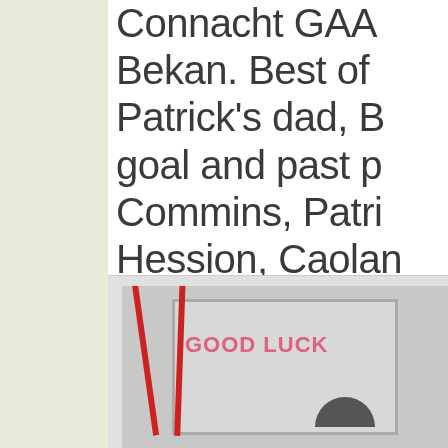Connacht GAA Bekan. Best of Patrick's dad, B goal and past p Commins, Patri Hession, Caolan Mark Tierney a n-éirí libh!
[Figure (photo): A window with a 'GOOD LUCK' sign visible through it, decorated with red ribbons/bunting on either side, and tree silhouettes visible at the bottom]